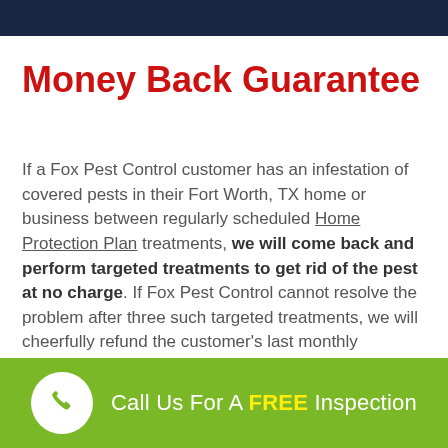Money Back Guarantee
If a Fox Pest Control customer has an infestation of covered pests in their Fort Worth, TX home or business between regularly scheduled Home Protection Plan treatments, we will come back and perform targeted treatments to get rid of the pest at no charge. If Fox Pest Control cannot resolve the problem after three such targeted treatments, we will cheerfully refund the customer's last monthly subscription fee as long as all other terms of the
Call Us For A FREE Inspection